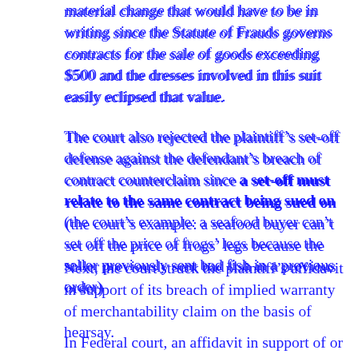material change that would have to be in writing since the Statute of Frauds governs contracts for the sale of goods exceeding $500 and the dresses involved in this suit easily eclipsed that value.
The court also rejected the plaintiff's set-off defense against the defendant's breach of contract counterclaim since a set-off must relate to the same contract being sued on (the court's example: a seafood buyer can't set off the price of frogs' legs because the seller previously sent bad fish in a previous order)
Next, the court struck the plaintiff's affidavit in support of its breach of implied warranty of merchantability claim on the basis of hearsay.
In Federal court, an affidavit in support of or opposing summary judgment must be based on